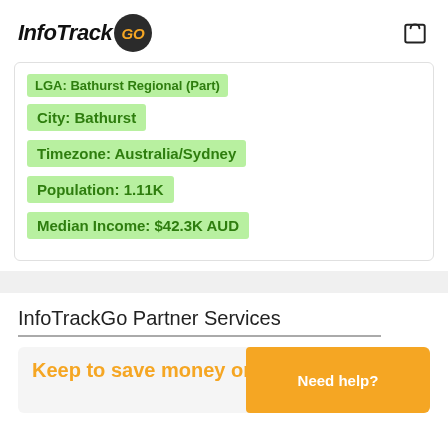InfoTrack GO
LGA: Bathurst Regional (Part)
City: Bathurst
Timezone: Australia/Sydney
Population: 1.11K
Median Income: $42.3K AUD
InfoTrackGo Partner Services
Keep to save money on e